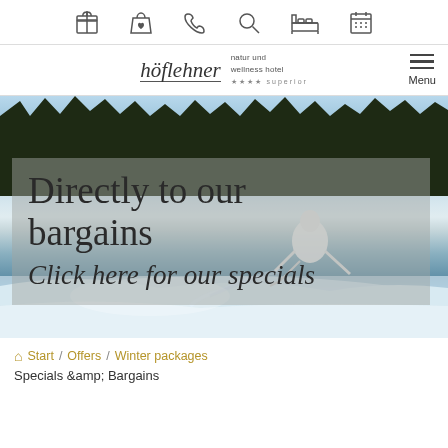[icon bar: gift, bag, phone, search, bed, calendar]
[Figure (logo): Höflehner natur und wellness hotel logo with script text and Menu button]
[Figure (photo): Winter ski scene with skier on snowy slope and pine forest in background. Overlay box with text: Directly to our bargains / Click here for our specials]
Directly to our bargains
Click here for our specials
Start / Offers / Winter packages
Specials &amp; Bargains